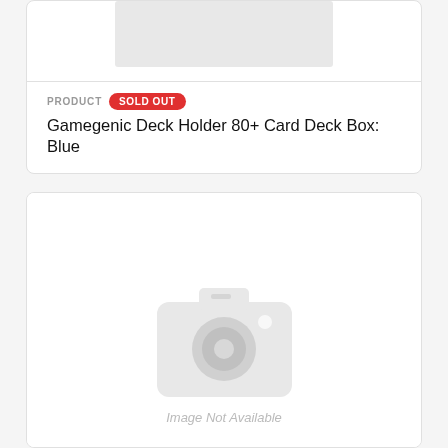[Figure (photo): Product image placeholder (light gray rectangle) for Gamegenic Deck Holder 80+]
PRODUCT  SOLD OUT
Gamegenic Deck Holder 80+ Card Deck Box: Blue
[Figure (photo): Image Not Available placeholder with camera icon]
PRODUCT  SOLD OUT
Side Holder 100+ XL Blue GameGenic